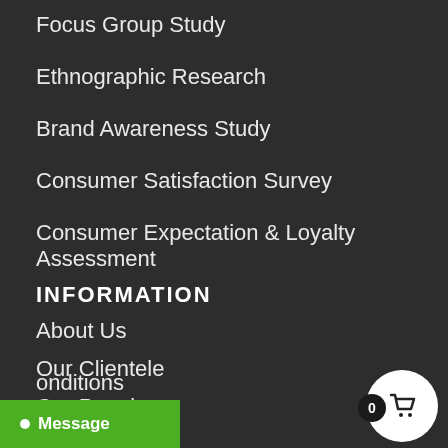Focus Group Study
Ethnographic Research
Brand Awareness Study
Consumer Satisfaction Survey
Consumer Expectation & Loyalty Assessment
INFORMATION
About Us
Our Clientele
Our People
Blog
Contact us
onditions
[Figure (other): Shopping cart button with badge showing 0]
[Figure (other): Green Message chat button]